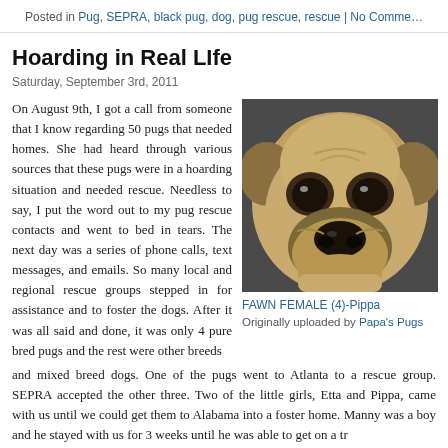Posted in Pug, SEPRA, black pug, dog, pug rescue, rescue | No Comments
Hoarding in Real LIfe
Saturday, September 3rd, 2011
On August 9th, I got a call from someone that I know regarding 50 pugs that needed homes. She had heard through various sources that these pugs were in a hoarding situation and needed rescue. Needless to say, I put the word out to my pug rescue contacts and went to bed in tears. The next day was a series of phone calls, text messages, and emails. So many local and regional rescue groups stepped in for assistance and to foster the dogs. After it was all said and done, it was only 4 pure bred pugs and the rest were other breeds and mixed breed dogs. One of the pugs went to Atlanta to a rescue group. SEPRA accepted the other three. Two of the little girls, Etta and Pippa, came with us until we could get them to Alabama into a foster home. Manny was a boy and he stayed with us for 3 weeks until he was able to get on a tr
[Figure (photo): Close-up photo of a fawn pug dog face looking at camera]
FAWN FEMALE (4)-Pippa
Originally uploaded by Papa's Pugs